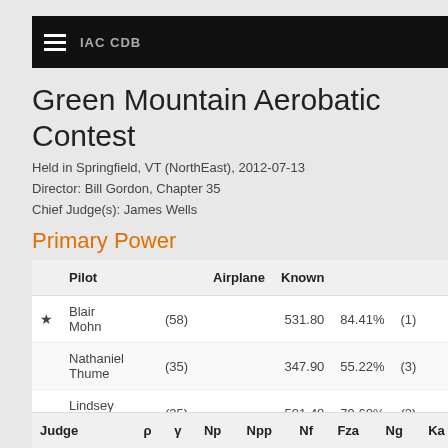IAC CDB
Green Mountain Aerobatic Contest
Held in Springfield, VT (NorthEast), 2012-07-13
Director: Bill Gordon, Chapter 35
Chief Judge(s): James Wells
Primary Power
|  | Pilot |  | Airplane | Known |  |  | F |
| --- | --- | --- | --- | --- | --- | --- | --- |
| ★ | Blair
Mohn | (58) |  | 531.80 | 84.41% | (1) | 5 |
|  | Nathaniel
Thume | (35) |  | 347.90 | 55.22% | (3) | 5 |
|  | Lindsey
Pell | (35) |  | 501.48 | 79.60% | (2) |  |
| Judge |  | ρ | γ | Np | Npp | Nf | Fza | Ng | Ka |
| --- | --- | --- | --- | --- | --- | --- | --- | --- | --- |